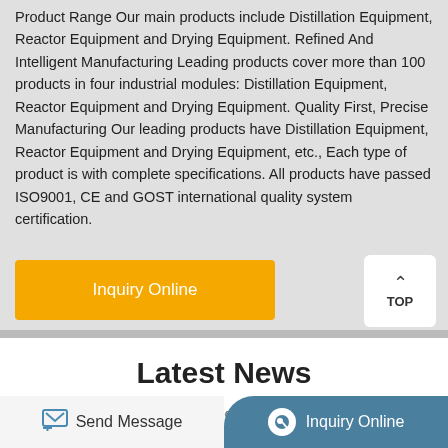Product Range Our main products include Distillation Equipment, Reactor Equipment and Drying Equipment. Refined And Intelligent Manufacturing Leading products cover more than 100 products in four industrial modules: Distillation Equipment, Reactor Equipment and Drying Equipment. Quality First, Precise Manufacturing Our leading products have Distillation Equipment, Reactor Equipment and Drying Equipment, etc., Each type of product is with complete specifications. All products have passed ISO9001, CE and GOST international quality system certification.
[Figure (other): Yellow 'Inquiry Online' button]
[Figure (other): White 'TOP' button with up arrow]
Latest News
...partial text line partially visible...
[Figure (other): Footer bar with 'Send Message' on left and 'Inquiry Online' on right (teal rounded)]